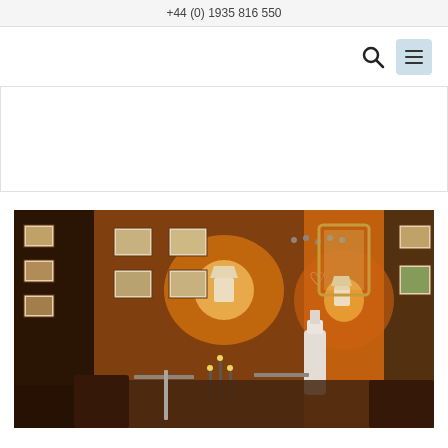+44 (0) 1935 816 550
[Figure (screenshot): Navigation bar with search icon and hamburger menu icon on a light blue button]
[Figure (photo): Warm interior of a chalet-style restaurant with wooden paneled walls, framed pictures, glowing lamps, candelabras, table settings, and cozy rustic decor]